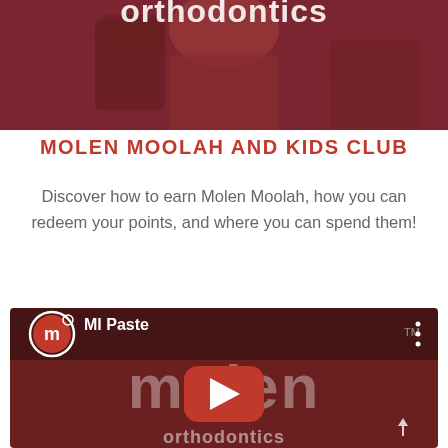[Figure (screenshot): Top cropped banner image showing Molen Orthodontics branding with a person in red, dark reddish-brown background with white 'orthodontics' text partially visible at top]
MOLEN MOOLAH AND KIDS CLUB
Discover how to earn Molen Moolah, how you can redeem your points, and where you can spend them!
[Figure (screenshot): YouTube video thumbnail showing Molen Orthodontics logo with 'm' icon and 'MI Paste' label, red YouTube play button in center, dark reddish background with 'molen' text, orthodontics watermark, three-dot menu in top right, TM symbol]